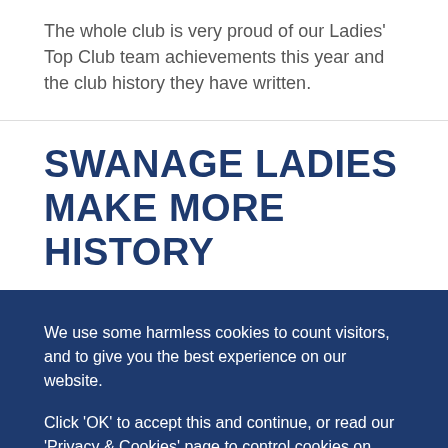The whole club is very proud of our Ladies' Top Club team achievements this year and the club history they have written.
SWANAGE LADIES MAKE MORE HISTORY
We use some harmless cookies to count visitors, and to give you the best experience on our website.
Click 'OK' to accept this and continue, or read our 'Privacy & Cookies' page to control cookies on your device.